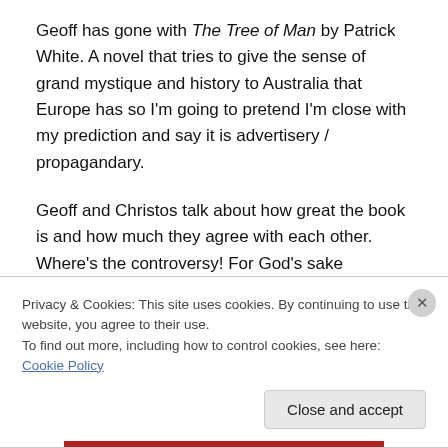Geoff has gone with The Tree of Man by Patrick White. A novel that tries to give the sense of grand mystique and history to Australia that Europe has so I'm going to pretend I'm close with my prediction and say it is advertisery / propagandary.
Geoff and Christos talk about how great the book is and how much they agree with each other. Where's the controversy! For God's sake Christos, give him the slap. We all want to see the slap. Zoe likes it too. Not even
Privacy & Cookies: This site uses cookies. By continuing to use this website, you agree to their use.
To find out more, including how to control cookies, see here: Cookie Policy
Close and accept